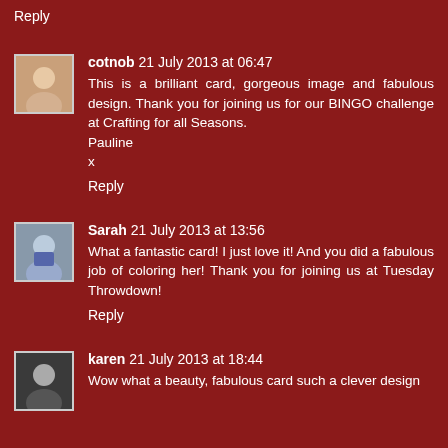Reply
cotnob 21 July 2013 at 06:47
This is a brilliant card, gorgeous image and fabulous design. Thank you for joining us for our BINGO challenge at Crafting for all Seasons.
Pauline
x
Reply
Sarah 21 July 2013 at 13:56
What a fantastic card! I just love it! And you did a fabulous job of coloring her! Thank you for joining us at Tuesday Throwdown!
Reply
karen 21 July 2013 at 18:44
Wow what a beauty, fabulous card such a clever design